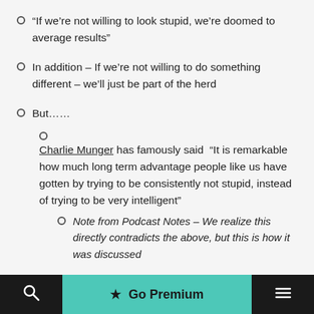“If we’re not willing to look stupid, we’re doomed to average results”
In addition – If we’re not willing to do something different – we’ll just be part of the herd
But……
Charlie Munger has famously said “It is remarkable how much long term advantage people like us have gotten by trying to be consistently not stupid, instead of trying to be very intelligent”
Note from Podcast Notes – We realize this directly contradicts the above, but this is how it was discussed
★ Go Premium